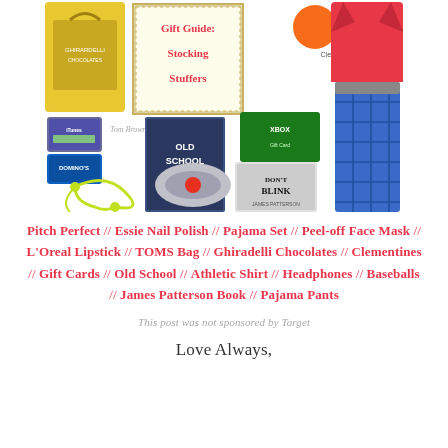[Figure (photo): A collage of stocking stuffer gift items including Ghiradelli chocolates, a gift guide book, clementines, pajama set, iTunes and Dominos gift cards, earbuds, a travel pillow, Old School DVD, Xbox gift card, Don't Blink book by James Patterson, and a red athletic shirt with blue plaid pajama pants.]
Pitch Perfect // Essie Nail Polish // Pajama Set // Peel-off Face Mask // L'Oreal Lipstick // TOMS Bag // Ghiradelli Chocolates // Clementines // Gift Cards // Old School // Athletic Shirt // Headphones // Baseballs // James Patterson Book // Pajama Pants
This post was not sponsored by Target
Love Always,